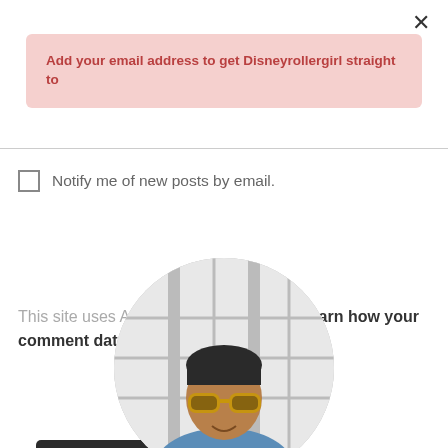×
Add your email address to get Disneyrollergirl straight to
Notify me of new posts by email.
Post Comment
This site uses Akismet to reduce spam. Learn how your comment data is processed.
[Figure (photo): Circular cropped photo of a person wearing yellow-framed sunglasses and a blue jacket, shown from shoulders up against a light architectural background.]